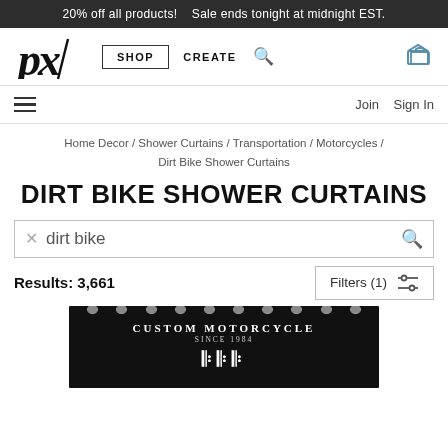20% off all products!   Sale ends tonight at midnight EST.
[Figure (logo): px logo in italic handwritten style]
SHOP   CREATE
Join   Sign In
Home Decor / Shower Curtains / Transportation / Motorcycles / Dirt Bike Shower Curtains
DIRT BIKE SHOWER CURTAINS
dirt bike
Results: 3,661
Filters (1)
[Figure (photo): Product image showing a black shower curtain with 'CUSTOM MOTORCYCLE SINCE 1984' text in white on a dark background with decorative lettering and hooks at top]